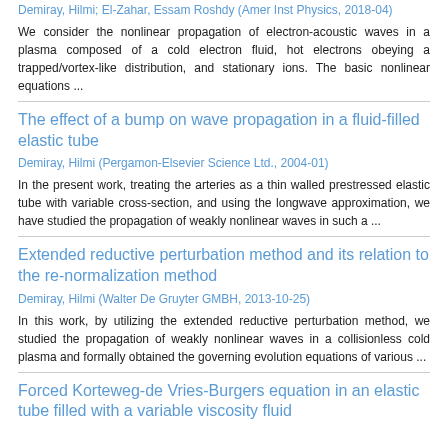Demiray, Hilmi; El-Zahar, Essam Roshdy (Amer Inst Physics, 2018-04)
We consider the nonlinear propagation of electron-acoustic waves in a plasma composed of a cold electron fluid, hot electrons obeying a trapped/vortex-like distribution, and stationary ions. The basic nonlinear equations ...
The effect of a bump on wave propagation in a fluid-filled elastic tube
Demiray, Hilmi (Pergamon-Elsevier Science Ltd., 2004-01)
In the present work, treating the arteries as a thin walled prestressed elastic tube with variable cross-section, and using the longwave approximation, we have studied the propagation of weakly nonlinear waves in such a ...
Extended reductive perturbation method and its relation to the re-normalization method
Demiray, Hilmi (Walter De Gruyter GMBH, 2013-10-25)
In this work, by utilizing the extended reductive perturbation method, we studied the propagation of weakly nonlinear waves in a collisionless cold plasma and formally obtained the governing evolution equations of various ...
Forced Korteweg-de Vries-Burgers equation in an elastic tube filled with a variable viscosity fluid